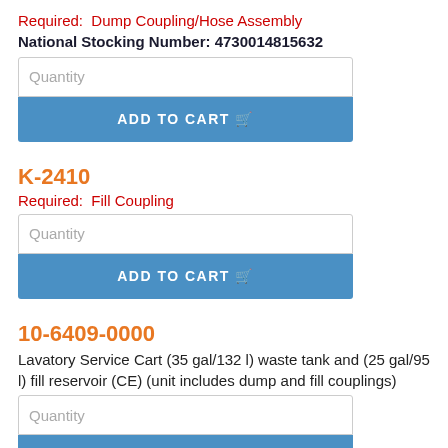Required:  Dump Coupling/Hose Assembly
National Stocking Number: 4730014815632
[Figure (screenshot): Quantity input field]
[Figure (screenshot): ADD TO CART button]
K-2410
Required:  Fill Coupling
[Figure (screenshot): Quantity input field]
[Figure (screenshot): ADD TO CART button]
10-6409-0000
Lavatory Service Cart (35 gal/132 l) waste tank and (25 gal/95 l) fill reservoir (CE) (unit includes dump and fill couplings)
[Figure (screenshot): Quantity input field]
[Figure (screenshot): ADD TO CART button]
NITROGEN
18-4200-1100